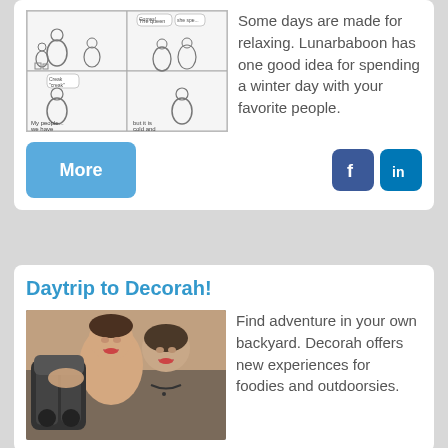[Figure (illustration): A four-panel comic strip (Lunarbaboon style) showing a parent and children playing with blocks indoors, with captions including 'My people... we have' and 'but it is cold and']
Some days are made for relaxing. Lunarbaboon has one good idea for spending a winter day with your favorite people.
More
[Figure (photo): Two young women/girls smiling outdoors near a telescope or binocular viewer]
Daytrip to Decorah!
Find adventure in your own backyard. Decorah offers new experiences for foodies and outdoorsies.